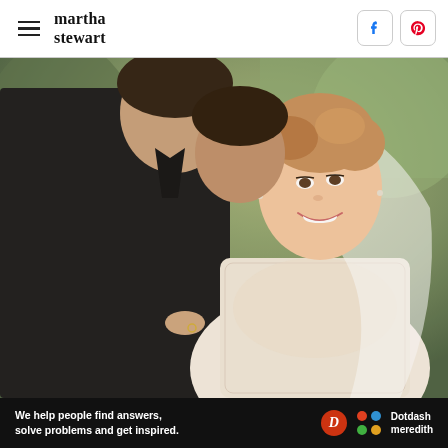martha stewart
[Figure (photo): A bride and groom sharing an intimate moment outdoors. The bride is wearing a lace long-sleeve wedding gown with a veil and is smiling at the camera. The groom, in a black suit, leans his head toward hers. Green foliage in the background.]
We help people find answers, solve problems and get inspired.
[Figure (logo): Dotdash Meredith logo with a red D circle and colorful dots, followed by the text 'Dotdash meredith']